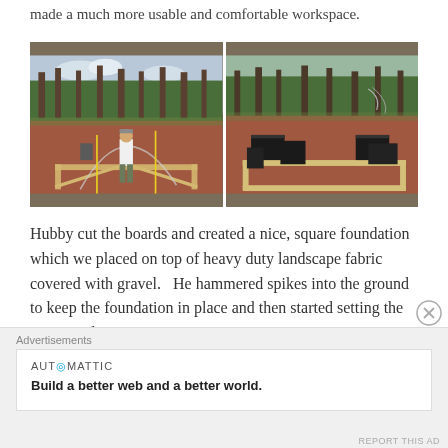made a much more usable and comfortable workspace.
[Figure (photo): Two side-by-side outdoor photos showing construction of a square wooden foundation frame on red dirt ground. Left photo: a person in white shirt and camouflage pants stands inside the frame with an arched wire/hose visible. Right photo: the completed frame with black containers/blocks placed at corners on top of landscape fabric, surrounded by trees.]
Hubby cut the boards and created a nice, square foundation which we placed on top of heavy duty landscape fabric covered with gravel.   He hammered spikes into the ground to keep the foundation in place and then started setting the posts in place. We
Advertisements
AUTOMATTIC
Build a better web and a better world.